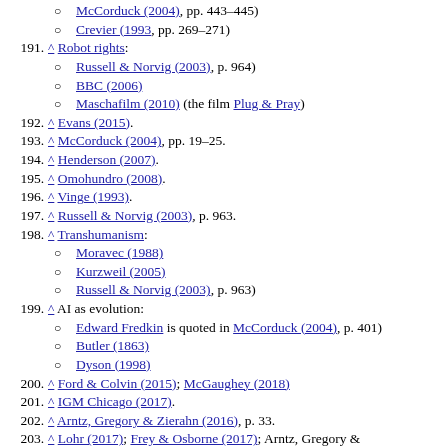McCorduck (2004), pp. 443–445)
Crevier (1993, pp. 269–271)
191. ^ Robot rights:
Russell & Norvig (2003), p. 964)
BBC (2006)
Maschafilm (2010) (the film Plug & Pray)
192. ^ Evans (2015).
193. ^ McCorduck (2004), pp. 19–25.
194. ^ Henderson (2007).
195. ^ Omohundro (2008).
196. ^ Vinge (1993).
197. ^ Russell & Norvig (2003), p. 963.
198. ^ Transhumanism:
Moravec (1988)
Kurzweil (2005)
Russell & Norvig (2003), p. 963)
199. ^ AI as evolution:
Edward Fredkin is quoted in McCorduck (2004), p. 401)
Butler (1863)
Dyson (1998)
200. ^ Ford & Colvin (2015); McGaughey (2018)
201. ^ IGM Chicago (2017).
202. ^ Arntz, Gregory & Zierahn (2016), p. 33.
203. ^ Lohr (2017); Frey & Osborne (2017); Arntz, Gregory &...